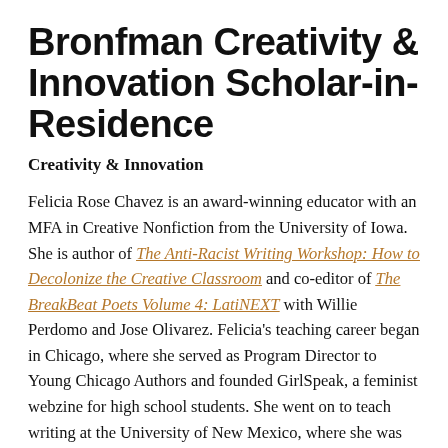Bronfman Creativity & Innovation Scholar-in-Residence
Creativity & Innovation
Felicia Rose Chavez is an award-winning educator with an MFA in Creative Nonfiction from the University of Iowa. She is author of The Anti-Racist Writing Workshop: How to Decolonize the Creative Classroom and co-editor of The BreakBeat Poets Volume 4: LatiNEXT with Willie Perdomo and Jose Olivarez. Felicia's teaching career began in Chicago, where she served as Program Director to Young Chicago Authors and founded GirlSpeak, a feminist webzine for high school students. She went on to teach writing at the University of New Mexico, where she was distinguished as the Most Innovative Instructor of the Year, the University of Iowa, where she was